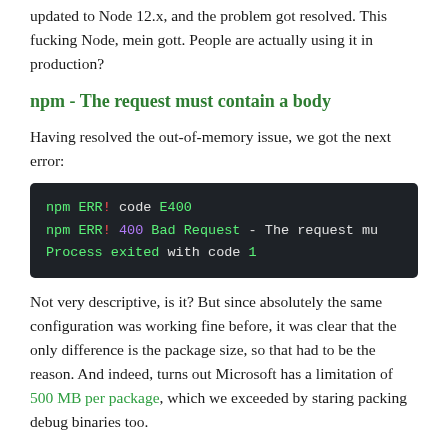updated to Node 12.x, and the problem got resolved. This fucking Node, mein gott. People are actually using it in production?
npm - The request must contain a body
Having resolved the out-of-memory issue, we got the next error:
[Figure (screenshot): Terminal code block showing: npm ERR! code E400 / npm ERR! 400 Bad Request - The request mu... / Process exited with code 1]
Not very descriptive, is it? But since absolutely the same configuration was working fine before, it was clear that the only difference is the package size, so that had to be the reason. And indeed, turns out Microsoft has a limitation of 500 MB per package, which we exceeded by staring packing debug binaries too.